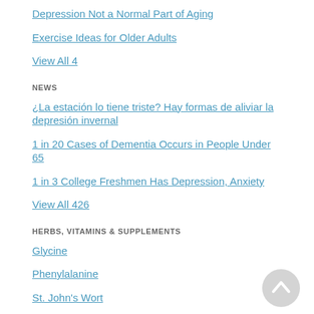Depression Not a Normal Part of Aging
Exercise Ideas for Older Adults
View All 4
NEWS
¿La estación lo tiene triste? Hay formas de aliviar la depresión invernal
1 in 20 Cases of Dementia Occurs in People Under 65
1 in 3 College Freshmen Has Depression, Anxiety
View All 426
HERBS, VITAMINS & SUPPLEMENTS
Glycine
Phenylalanine
St. John's Wort